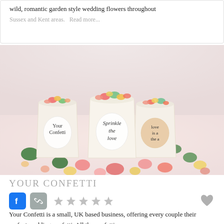wild, romantic garden style wedding flowers throughout
Sussex and Kent areas.   Read more...
[Figure (photo): Three cream paper cups filled with colorful confetti (pink, yellow, green, coral pieces) on a white surface scattered with confetti. Each cup has a circular label with cursive text reading 'Your Confetti', 'Sprinkle the love', and 'love is a the a'.]
YOUR CONFETTI
[Figure (infographic): Facebook icon button, link/chain icon button, five grey star rating icons, and a grey heart icon]
Your Confetti is a small, UK based business, offering every couple their perfect wedding confetti. All the confetti we